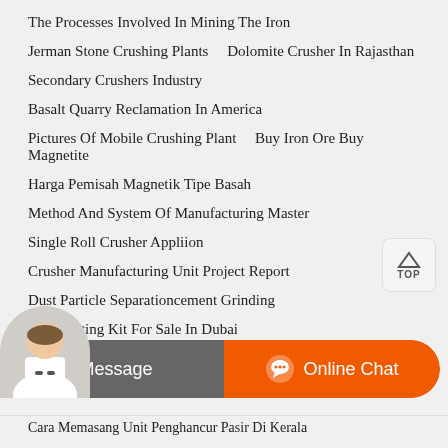The Processes Involved In Mining The Iron
Jerman Stone Crushing Plants    Dolomite Crusher In Rajasthan
Secondary Crushers Industry
Basalt Quarry Reclamation In America
Pictures Of Mobile Crushing Plant    Buy Iron Ore Buy Magnetite
Harga Pemisah Magnetik Tipe Basah
Method And System Of Manufacturing Master
Single Roll Crusher Appliion
Crusher Manufacturing Unit Project Report
Dust Particle Separationcement Grinding
Gold Plating Kit For Sale In Dubai
Inch Portable Stone Jaw Crusher    Manual Of Coal Crusher Pdf
Cara Memasang Unit Penghancur Pasir Di Kerala